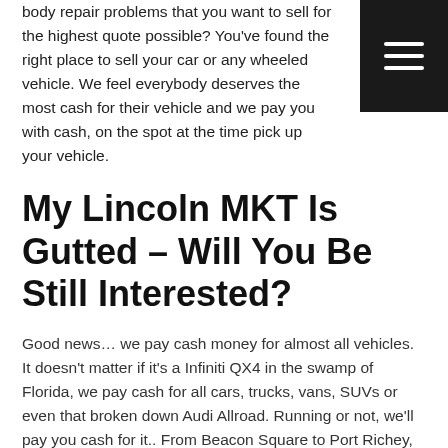body repair problems that you want to sell for the highest quote possible? You've found the right place to sell your car or any wheeled vehicle. We feel everybody deserves the most cash for their vehicle and we pay you with cash, on the spot at the time pick up your vehicle.
[Figure (other): Hamburger menu button icon — three horizontal white lines on a black square background, positioned in the top-right corner]
My Lincoln MKT Is Gutted – Will You Be Still Interested?
Good news… we pay cash money for almost all vehicles. It doesn't matter if it's a Infiniti QX4 in the swamp of Florida, we pay cash for all cars, trucks, vans, SUVs or even that broken down Audi Allroad. Running or not, we'll pay you cash for it.. From Beacon Square to Port Richey, we're your local area car buyer.
The Best Way To Sell Your Car For Cash In Palm Harbor